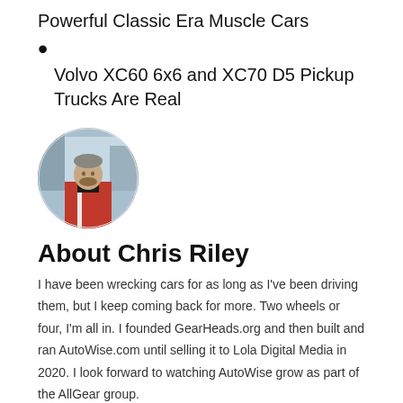Powerful Classic Era Muscle Cars
Volvo XC60 6x6 and XC70 D5 Pickup Trucks Are Real
[Figure (photo): Circular profile photo of Chris Riley, a man wearing a red and black jacket, standing outdoors with a snowy/icy background]
About Chris Riley
I have been wrecking cars for as long as I've been driving them, but I keep coming back for more. Two wheels or four, I'm all in. I founded GearHeads.org and then built and ran AutoWise.com until selling it to Lola Digital Media in 2020. I look forward to watching AutoWise grow as part of the AllGear group.
[Figure (illustration): Row of social media icons: Twitter/X, Facebook, Instagram, LinkedIn, and another icon]